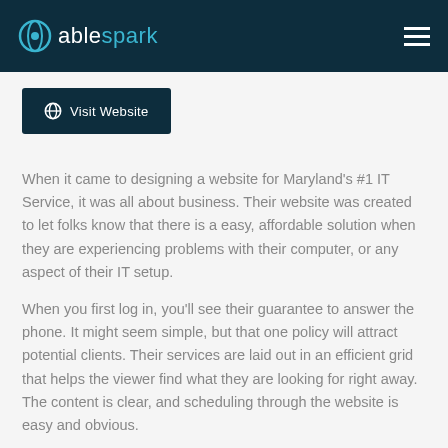ablespark
Visit Website
When it came to designing a website for Maryland's #1 IT Service, it was all about business. Their website was created to let folks know that there is a easy, affordable solution when they are experiencing problems with their computer, or any aspect of their IT setup.
When you first log in, you'll see their guarantee to answer the phone. It might seem simple, but that one policy will attract potential clients. Their services are laid out in an efficient grid that helps the viewer find what they are looking for right away. The content is clear, and scheduling through the website is easy and obvious.